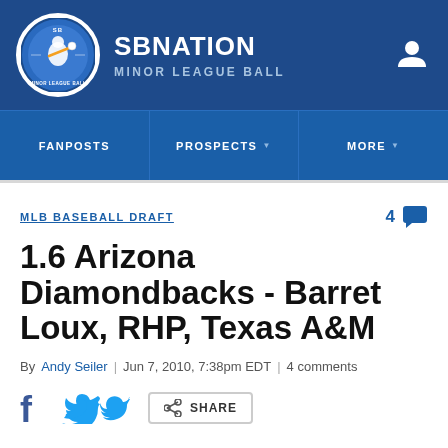SB NATION | MINOR LEAGUE BALL
FANPOSTS | PROSPECTS | MORE
MLB BASEBALL DRAFT
1.6 Arizona Diamondbacks - Barret Loux, RHP, Texas A&M
By Andy Seiler | Jun 7, 2010, 7:38pm EDT | 4 comments
SHARE